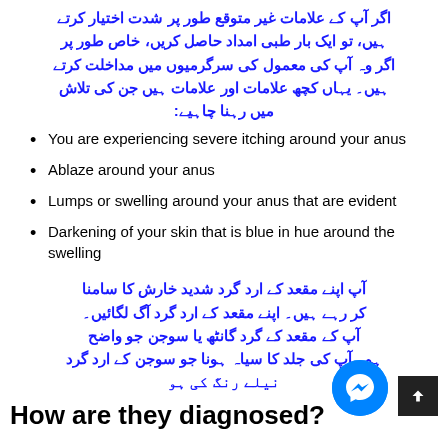اگر آپ کے علامات غیر متوقع طور پر شدت اختیار کرتے ہیں، تو ایک بار طبی امداد حاصل کریں، خاص طور پر اگر وہ آپ کی معمول کی سرگرمیوں میں مداخلت کرتے ہیں۔ یہاں کچھ علامات اور علامات ہیں جن کی تلاش میں رہنا چاہیے:
You are experiencing severe itching around your anus
Ablaze around your anus
Lumps or swelling around your anus that are evident
Darkening of your skin that is blue in hue around the swelling
آپ اپنے مقعد کے ارد گرد شدید خارش کا سامنا کر رہے ہیں۔ اپنے مقعد کے ارد گرد آگ لگائیں۔ آپ کے مقعد کے گرد گانٹھ یا سوجن جو واضح ہو۔ آپ کی جلد کا سیاہ ہونا جو سوجن کے ارد گرد نیلے رنگ کی ہو
How are they diagnosed?